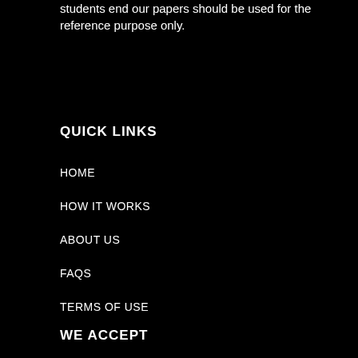students end our papers should be used for the reference purpose only.
QUICK LINKS
HOME
HOW IT WORKS
ABOUT US
FAQs
TERMS OF USE
WE ACCEPT